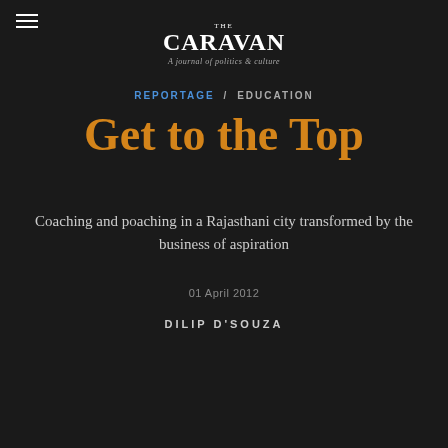THE CARAVAN — A journal of politics & culture
REPORTAGE / EDUCATION
Get to the Top
Coaching and poaching in a Rajasthani city transformed by the business of aspiration
01 April 2012
DILIP D'SOUZA